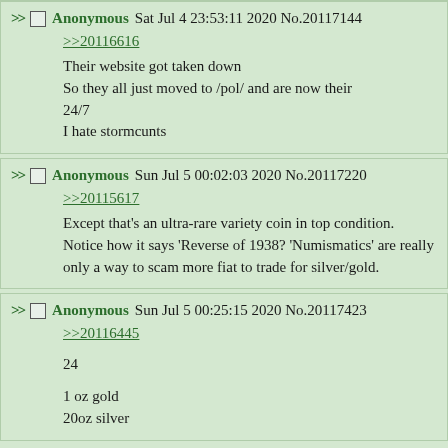Anonymous Sat Jul 4 23:53:11 2020 No.20117144
>>20116616
Their website got taken down
So they all just moved to /pol/ and are now their 24/7
I hate stormcunts
Anonymous Sun Jul 5 00:02:03 2020 No.20117220
>>20115617
Except that's an ultra-rare variety coin in top condition. Notice how it says 'Reverse of 1938? 'Numismatics' are really only a way to scam more fiat to trade for silver/gold.
Anonymous Sun Jul 5 00:25:15 2020 No.20117423
>>20116445
24
1 oz gold
20oz silver